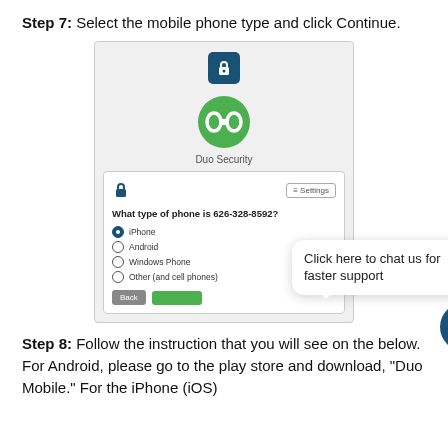Step 7: Select the mobile phone type and click Continue.
[Figure (screenshot): Screenshot of Duo Security app showing phone type selection dialog with options: iPhone (selected), Android, Windows Phone, Other (and cell phones). A chat bubble overlay says 'Click here to chat us for faster support' with a chat widget button.]
Step 8: Follow the instruction that you will see on the below. For Android, please go to the play store and download, "Duo Mobile." For the iPhone (iOS)